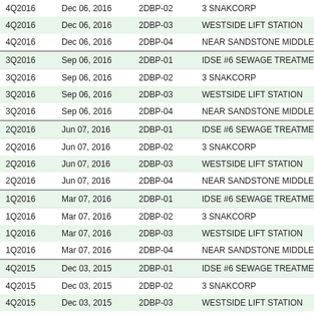| Quarter | Date | Station ID | Location |
| --- | --- | --- | --- |
| 4Q2016 | Dec 06, 2016 | 2DBP-02 | 3 SNAKCORP |
| 4Q2016 | Dec 06, 2016 | 2DBP-03 | WESTSIDE LIFT STATION |
| 4Q2016 | Dec 06, 2016 | 2DBP-04 | NEAR SANDSTONE MIDDLE S… |
| 3Q2016 | Sep 06, 2016 | 2DBP-01 | IDSE #6 SEWAGE TREATMENT… |
| 3Q2016 | Sep 06, 2016 | 2DBP-02 | 3 SNAKCORP |
| 3Q2016 | Sep 06, 2016 | 2DBP-03 | WESTSIDE LIFT STATION |
| 3Q2016 | Sep 06, 2016 | 2DBP-04 | NEAR SANDSTONE MIDDLE S… |
| 2Q2016 | Jun 07, 2016 | 2DBP-01 | IDSE #6 SEWAGE TREATMENT… |
| 2Q2016 | Jun 07, 2016 | 2DBP-02 | 3 SNAKCORP |
| 2Q2016 | Jun 07, 2016 | 2DBP-03 | WESTSIDE LIFT STATION |
| 2Q2016 | Jun 07, 2016 | 2DBP-04 | NEAR SANDSTONE MIDDLE S… |
| 1Q2016 | Mar 07, 2016 | 2DBP-01 | IDSE #6 SEWAGE TREATMENT… |
| 1Q2016 | Mar 07, 2016 | 2DBP-02 | 3 SNAKCORP |
| 1Q2016 | Mar 07, 2016 | 2DBP-03 | WESTSIDE LIFT STATION |
| 1Q2016 | Mar 07, 2016 | 2DBP-04 | NEAR SANDSTONE MIDDLE S… |
| 4Q2015 | Dec 03, 2015 | 2DBP-01 | IDSE #6 SEWAGE TREATMENT… |
| 4Q2015 | Dec 03, 2015 | 2DBP-02 | 3 SNAKCORP |
| 4Q2015 | Dec 03, 2015 | 2DBP-03 | WESTSIDE LIFT STATION |
| 4Q2015 | Dec 03, 2015 | 2DBP-04 | NEAR SANDSTONE MIDDLE S… |
| 3Q2015 | Sep 02, 2015 | 2DBP-01 | IDSE #6 SEWAGE TREATMENT… |